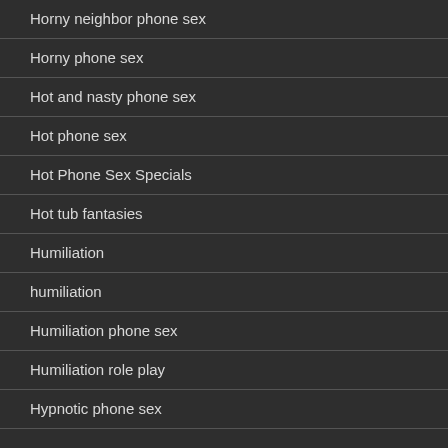Horny neighbor phone sex
Horny phone sex
Hot and nasty phone sex
Hot phone sex
Hot Phone Sex Specials
Hot tub fantasies
Humiliation
humiliation
Humiliation phone sex
Humiliation role play
Hypnotic phone sex